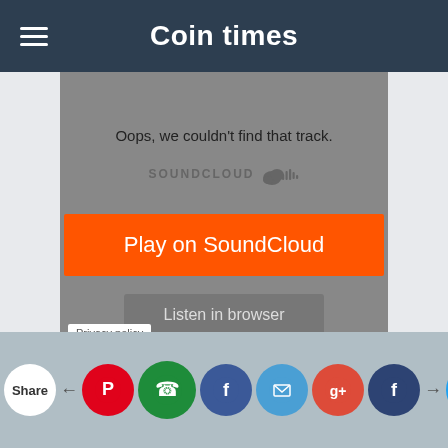Coin times
[Figure (screenshot): SoundCloud embedded player showing an error: 'Oops, we couldn't find that track.' with SOUNDCLOUD logo, an orange 'Play on SoundCloud' button, and a gray 'Listen in browser' button on a gray background. A 'Privacy policy' label is at the bottom left.]
Share | social share buttons: Pinterest, WhatsApp, Facebook, Email, Google+, Facebook, Twitter, More